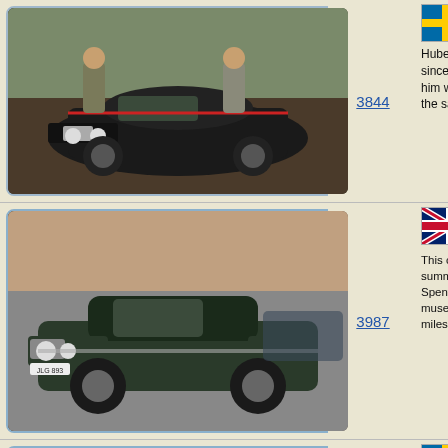[Figure (photo): Black classic car with two men standing behind it, decorated with red ribbons]
3844
Hubert Fa... since 195... him with t... the sales...
[Figure (photo): Dark green classic Bentley/Daimler saloon car, registration JLG 893, parked outdoors]
3987
This car w... summer 2... Spent mo... museum.... miles.
[Figure (photo): Rusty, unrestored classic car in barn/storage, bare metal project car]
4038
One of H... projects.
Purchased... NSW Aus... Norman N... 457 plate...